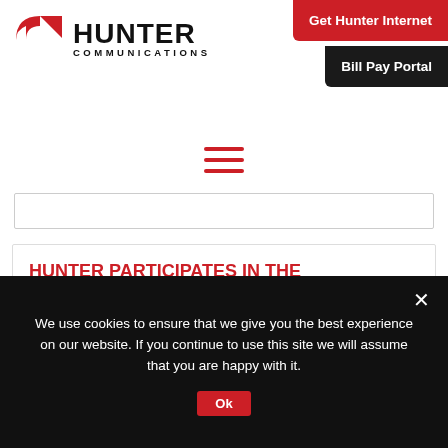Hunter Communications | Get Hunter Internet | Bill Pay Portal
[Figure (logo): Hunter Communications logo with red icon and black wordmark]
Get Hunter Internet
Bill Pay Portal
[Figure (other): Hamburger menu icon (three red horizontal lines)]
HUNTER PARTICIPATES IN THE AFFORDABLE CONNECTIVITY PROGRAM
Apr 18, 2022
Hunter is participating in the FCC's new
We use cookies to ensure that we give you the best experience on our website. If you continue to use this site we will assume that you are happy with it.
Ok